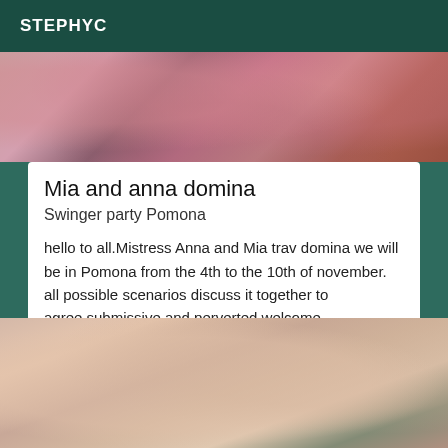STEPHYC
[Figure (photo): Top photo showing pink and dark colored fabric/clothing items]
Mia and anna domina
Swinger party Pomona
hello to all.Mistress Anna and Mia trav domina we will be in Pomona from the 4th to the 10th of november. all possible scenarios discuss it together to agree.submissive and perverted welcome.
[Figure (photo): Bottom photo showing close-up of skin/arms]